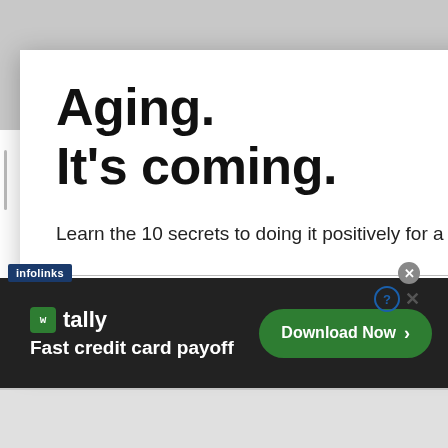Aging.
It's coming.
Learn the 10 secrets to doing it positively for a full and fulfilling life.
Email address
[Figure (screenshot): Advertisement banner from infolinks for Tally app: 'Fast credit card payoff' with a 'Download Now' button]
infolinks
tally
Fast credit card payoff
Download Now